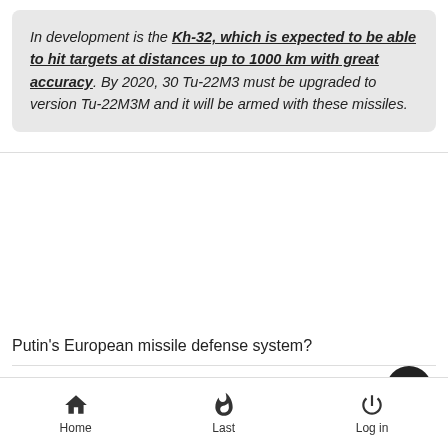In development is the Kh-32, which is expected to be able to hit targets at distances up to 1000 km with great accuracy. By 2020, 30 Tu-22M3 must be upgraded to version Tu-22M3M and it will be armed with these missiles.
Putin's European missile defense system?
Like  Dislike
Home  Last  Log in